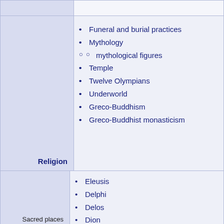Funeral and burial practices
Mythology
mythological figures
Temple
Twelve Olympians
Underworld
Greco-Buddhism
Greco-Buddhist monasticism
Religion
Eleusis
Delphi
Delos
Dion
Dodona
Mount Olympus
Olympia
Sacred places